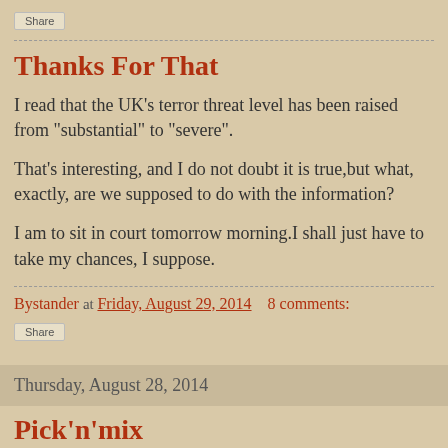Share
Thanks For That
I read that the UK's terror threat level has been raised from "substantial" to "severe".
That's interesting, and I do not doubt it is true,but what, exactly, are we supposed to do with the information?
I am to sit in court tomorrow morning.I shall just have to take my chances, I suppose.
Bystander at Friday, August 29, 2014   8 comments:
Share
Thursday, August 28, 2014
Pick'n'mix